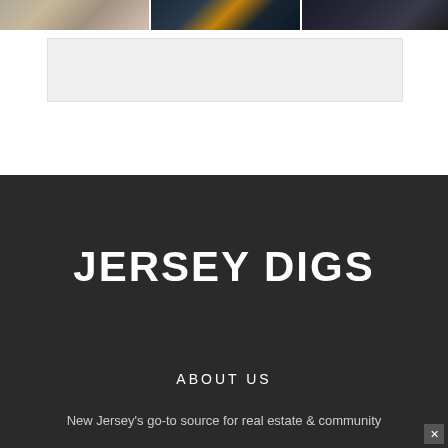[Figure (photo): Three thumbnail photos in a row: left shows an outdoor plaza/bench area, middle shows a nighttime city/harbor scene with orange lights, right shows a dark silhouette of bare trees]
[Figure (other): Gray rectangular advertisement banner placeholder]
JERSEY DIGS
ABOUT US
New Jersey's go-to source for real estate & community